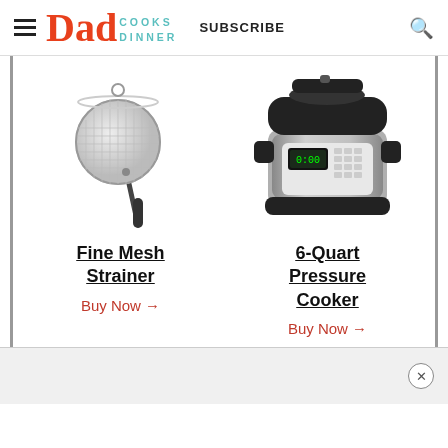Dad Cooks Dinner — SUBSCRIBE
[Figure (illustration): Fine mesh strainer with long dark handle on white background]
Fine Mesh Strainer
Buy Now →
[Figure (photo): 6-Quart stainless steel electric pressure cooker with black lid and digital display panel]
6-Quart Pressure Cooker
Buy Now →